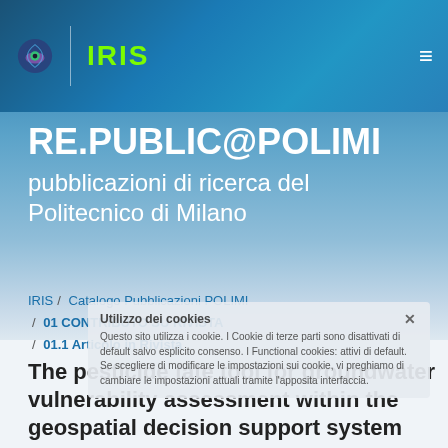IRIS | RE.PUBLIC@POLIMI
RE.PUBLIC@POLIMI
pubblicazioni di ricerca del Politecnico di Milano
IRIS / Catalogo Pubblicazioni POLIMI / 01 CONTRIBUTO SU RIVISTA / 01.1 Articolo in Rivista
Utilizzo dei cookies
Questo sito utilizza i cookie. I Cookie di terze parti sono disattivati di default salvo esplicito consenso. I Functional cookies: attivi di default. Se scegliere di modificare le impostazioni sui cookie, vi preghiamo di cambiare le impostazioni attuali tramite l'apposita interfaccia.
The pesticide fate tool for groundwater vulnerability assessment within the geospatial decision support system